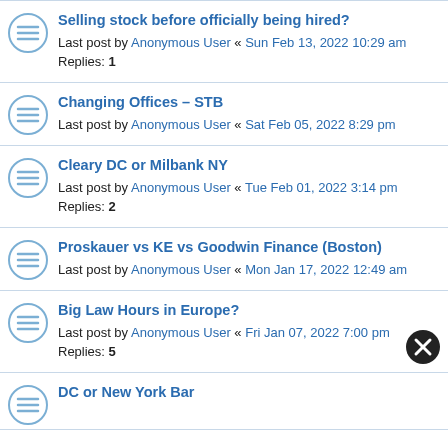Selling stock before officially being hired?
Last post by Anonymous User « Sun Feb 13, 2022 10:29 am
Replies: 1
Changing Offices – STB
Last post by Anonymous User « Sat Feb 05, 2022 8:29 pm
Cleary DC or Milbank NY
Last post by Anonymous User « Tue Feb 01, 2022 3:14 pm
Replies: 2
Proskauer vs KE vs Goodwin Finance (Boston)
Last post by Anonymous User « Mon Jan 17, 2022 12:49 am
Big Law Hours in Europe?
Last post by Anonymous User « Fri Jan 07, 2022 7:00 pm
Replies: 5
DC or New York Bar